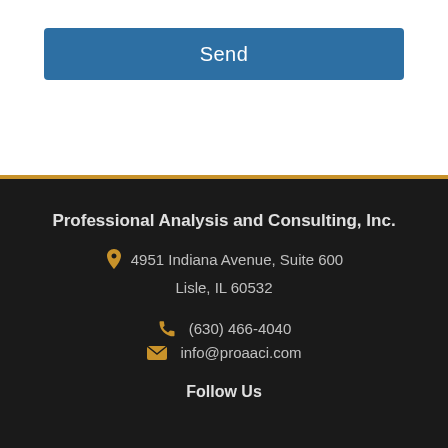Send
Professional Analysis and Consulting, Inc.
4951 Indiana Avenue, Suite 600
Lisle, IL 60532
(630) 466-4040
info@proaaci.com
Follow Us